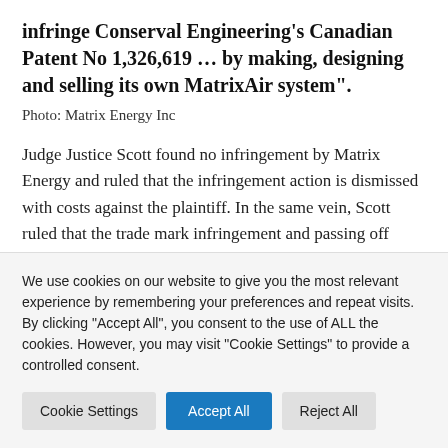infringe Conserval Engineering's Canadian Patent No 1,326,619 … by making, designing and selling its own MatrixAir system".
Photo: Matrix Energy Inc
Judge Justice Scott found no infringement by Matrix Energy and ruled that the infringement action is dismissed with costs against the plaintiff.  In the same vein, Scott ruled that the trade mark infringement and passing off actions brought forward by Conserval are also both dismissed with costs
We use cookies on our website to give you the most relevant experience by remembering your preferences and repeat visits. By clicking "Accept All", you consent to the use of ALL the cookies. However, you may visit "Cookie Settings" to provide a controlled consent.